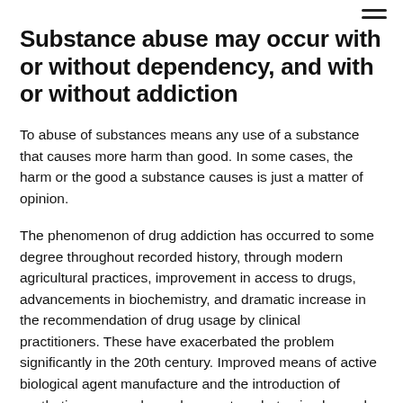Substance abuse may occur with or without dependency, and with or without addiction
To abuse of substances means any use of a substance that causes more harm than good. In some cases, the harm or the good a substance causes is just a matter of opinion.
The phenomenon of drug addiction has occurred to some degree throughout recorded history, through modern agricultural practices, improvement in access to drugs, advancements in biochemistry, and dramatic increase in the recommendation of drug usage by clinical practitioners. These have exacerbated the problem significantly in the 20th century. Improved means of active biological agent manufacture and the introduction of synthetic compounds, such as metamphetamine have also